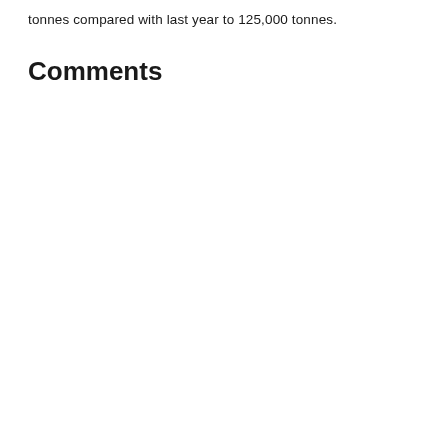tonnes compared with last year to 125,000 tonnes.
Comments